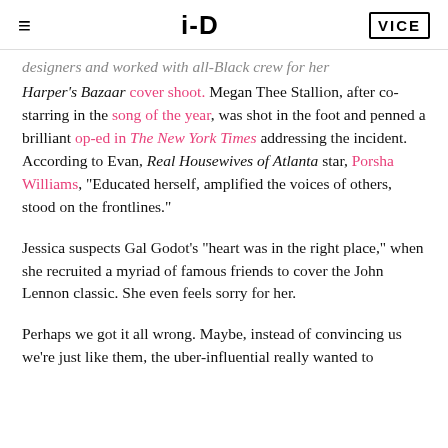i-D  VICE
designers and worked with all-Black crew for her Harper's Bazaar cover shoot. Megan Thee Stallion, after co-starring in the song of the year, was shot in the foot and penned a brilliant op-ed in The New York Times addressing the incident. According to Evan, Real Housewives of Atlanta star, Porsha Williams, “Educated herself, amplified the voices of others, stood on the frontlines.”
Jessica suspects Gal Godot’s “heart was in the right place,” when she recruited a myriad of famous friends to cover the John Lennon classic. She even feels sorry for her.
Perhaps we got it all wrong. Maybe, instead of convincing us we’re just like them, the uber-influential really wanted to